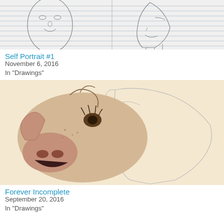[Figure (illustration): Pencil sketch self portrait showing face from multiple angles on lined paper]
Self Portrait #1
November 6, 2016
In "Drawings"
[Figure (illustration): Drawing of a cow/calf head with partially colored realistic left side and pencil sketch outline on right side, on cream background]
Forever Incomplete
September 20, 2016
In "Drawings"